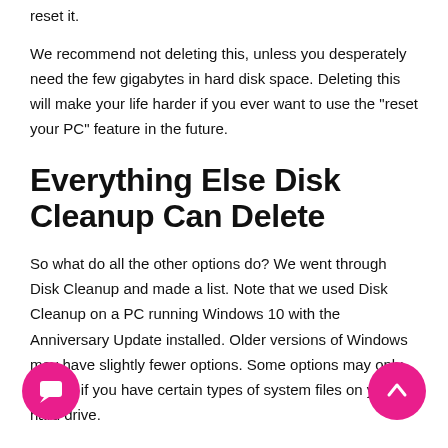reset it.
We recommend not deleting this, unless you desperately need the few gigabytes in hard disk space. Deleting this will make your life harder if you ever want to use the "reset your PC" feature in the future.
Everything Else Disk Cleanup Can Delete
So what do all the other options do? We went through Disk Cleanup and made a list. Note that we used Disk Cleanup on a PC running Windows 10 with the Anniversary Update installed. Older versions of Windows may have slightly fewer options. Some options may only appear if you have certain types of system files on your hard drive.